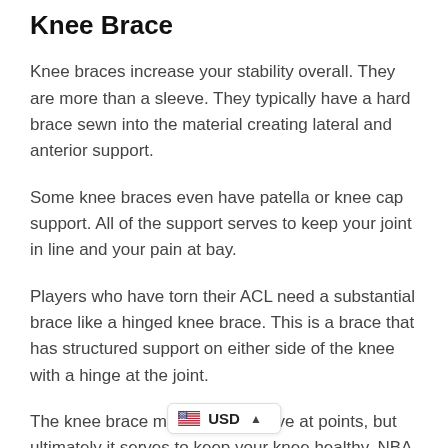Knee Brace
Knee braces increase your stability overall. They are more than a sleeve. They typically have a hard brace sewn into the material creating lateral and anterior support.
Some knee braces even have patella or knee cap support. All of the support serves to keep your joint in line and your pain at bay.
Players who have torn their ACL need a substantial brace like a hinged knee brace. This is a brace that has structured support on either side of the knee with a hinge at the joint.
The knee brace may feel restrictive at points, but ultimately it serves to keep your knee healthy. NBA players recognize this and quickly acclimate to the restriction. T… all knee support